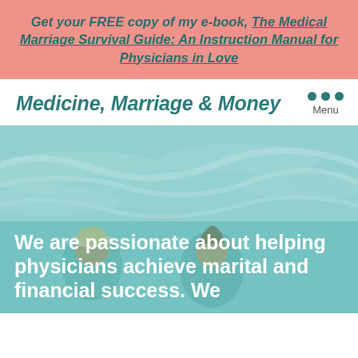Get your FREE copy of my e-book, The Medical Marriage Survival Guide: An Instruction Manual for Physicians in Love
Medicine, Marriage & Money
[Figure (photo): A couple sitting on a beach looking at ocean waves, viewed from behind. One person wears a white hat. The image has a teal/turquoise color overlay. Text overlay reads: 'We are passionate about helping physicians achieve marital and financial success. We']
We are passionate about helping physicians achieve marital and financial success. We